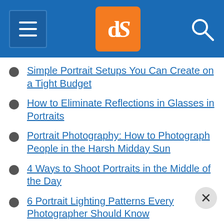dPS navigation menu
Simple Portrait Setups You Can Create on a Tight Budget
How to Eliminate Reflections in Glasses in Portraits
Portrait Photography: How to Photograph People in the Harsh Midday Sun
4 Ways to Shoot Portraits in the Middle of the Day
6 Portrait Lighting Patterns Every Photographer Should Know
3 Lighting Setups for Photographing